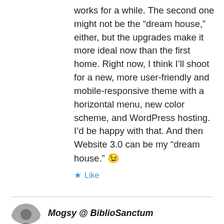works for a while. The second one might not be the “dream house,” either, but the upgrades make it more ideal now than the first home. Right now, I think I’ll shoot for a new, more user-friendly and mobile-responsive theme with a horizontal menu, new color scheme, and WordPress hosting. I’d be happy with that. And then Website 3.0 can be my “dream house.” 😉
★ Like
[Figure (photo): User avatar photo - small circular profile picture in grayscale]
Mogsy @ BiblioSanctum